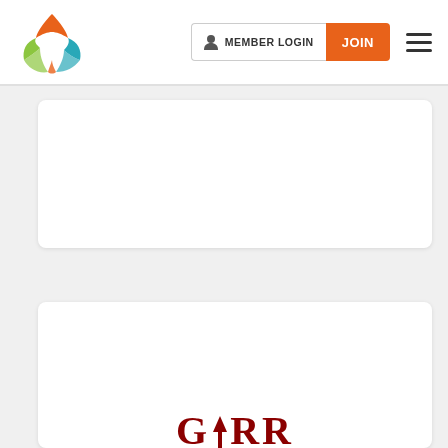[Figure (logo): Triangular abstract logo with green, orange and blue shapes forming a cycle/loop symbol]
[Figure (screenshot): Member Login and JOIN navigation buttons with hamburger menu icon]
[Figure (other): White rounded card area 1 - content area placeholder]
[Figure (other): White rounded card area 2 containing partial GARR logo text in dark red at bottom]
GARR